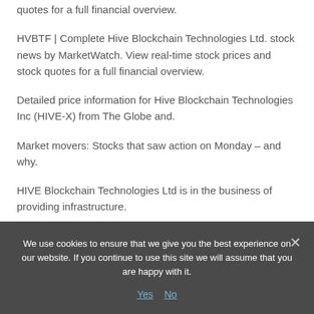quotes for a full financial overview.
HVBTF | Complete Hive Blockchain Technologies Ltd. stock news by MarketWatch. View real-time stock prices and stock quotes for a full financial overview.
Detailed price information for Hive Blockchain Technologies Inc (HIVE-X) from The Globe and.
Market movers: Stocks that saw action on Monday – and why.
HIVE Blockchain Technologies Ltd is in the business of providing infrastructure.
We use cookies to ensure that we give you the best experience on our website. If you continue to use this site we will assume that you are happy with it.
Yes  No